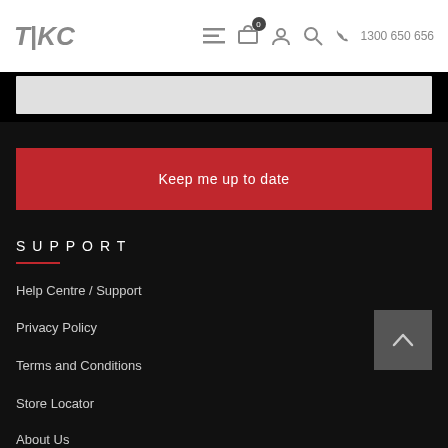TKC  ☰  🛒0  👤  🔍  ☎ 1300 650 656
Keep me up to date
SUPPORT
Help Centre / Support
Privacy Policy
Terms and Conditions
Store Locator
About Us